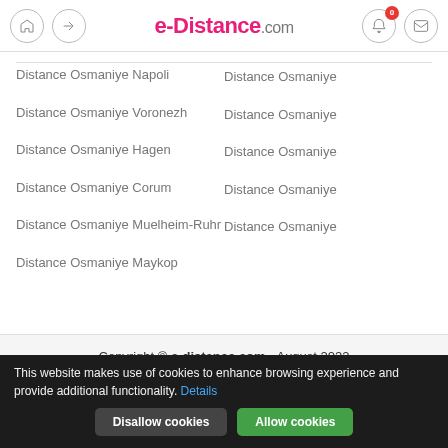e-Distance.com
Distance Osmaniye Napoli
Distance Osmaniye Voronezh
Distance Osmaniye Hagen
Distance Osmaniye Corum
Distance Osmaniye Muelheim-Ruhr
Distance Osmaniye Maykop
Distance Osmaniye
Distance Osmaniye
Distance Osmaniye
Distance Osmaniye
Distance Osmaniye
Copyright © e-distance.com - August 2022
terms of using
This website makes use of cookies to enhance browsing experience and provide additional functionality. Details
Disallow cookies  Allow cookies